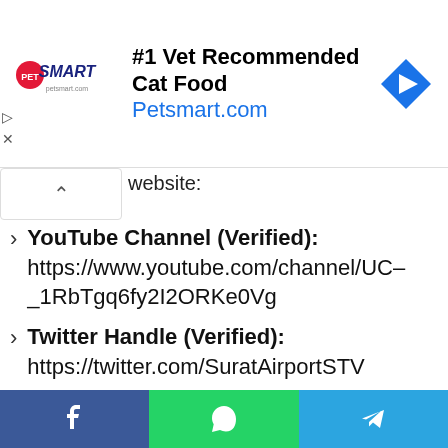[Figure (screenshot): PetSmart advertisement banner showing '#1 Vet Recommended Cat Food' and 'Petsmart.com' with logo and navigation arrow icon]
website:
YouTube Channel (Verified): https://www.youtube.com/channel/UC-_1RbTgq6fy2I2ORKe0Vg
Twitter Handle (Verified): https://twitter.com/SuratAirportSTV
Instagram Account: https://www.instagram.com/suratinternationalairport.stv/
Facebook Page (Verified): https://www.facebook.com/SuratInterna
[Figure (screenshot): Bottom social sharing bar with Facebook, WhatsApp, and Telegram buttons]